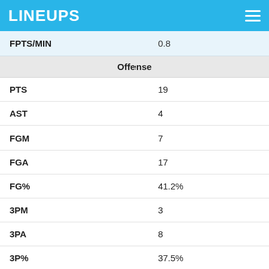LINEUPS
| FPTS/MIN | 0.8 |
| Offense |  |
| PTS | 19 |
| AST | 4 |
| FGM | 7 |
| FGA | 17 |
| FG% | 41.2% |
| 3PM | 3 |
| 3PA | 8 |
| 3P% | 37.5% |
| FTM | 2 |
| FTA | 2 |